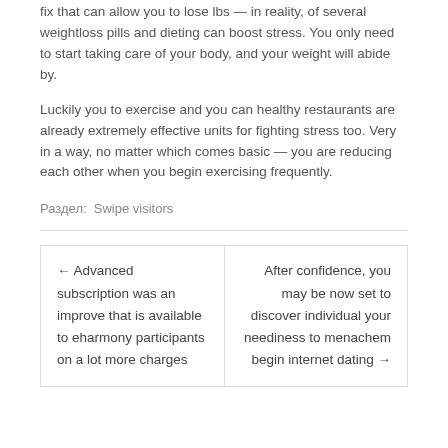fix that can allow you to lose lbs — in reality, of several weightloss pills and dieting can boost stress. You only need to start taking care of your body, and your weight will abide by.
Luckily you to exercise and you can healthy restaurants are already extremely effective units for fighting stress too. Very in a way, no matter which comes basic — you are reducing each other when you begin exercising frequently.
Раздел:  Swipe visitors
← Advanced subscription was an improve that is available to eharmony participants on a lot more charges
After confidence, you may be now set to discover individual your neediness to menachem begin internet dating →